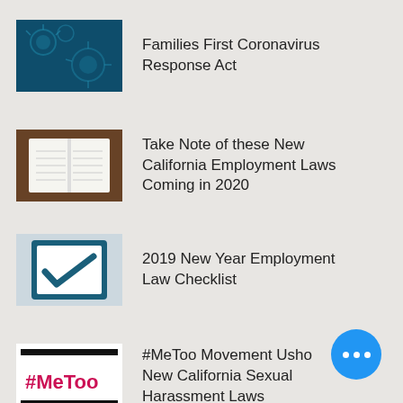Families First Coronavirus Response Act
Take Note of these New California Employment Laws Coming in 2020
2019 New Year Employment Law Checklist
#MeToo Movement Usho New California Sexual Harassment Laws